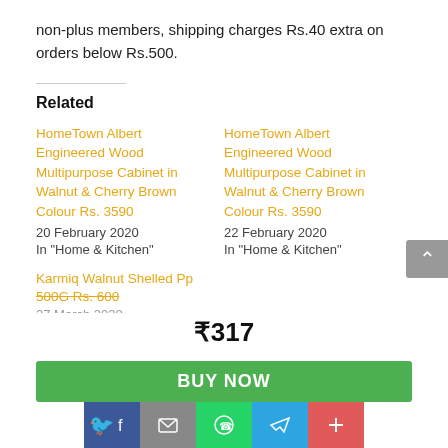non-plus members, shipping charges Rs.40 extra on orders below Rs.500.
Related
HomeTown Albert Engineered Wood Multipurpose Cabinet in Walnut & Cherry Brown Colour Rs. 3590
20 February 2020
In "Home & Kitchen"
HomeTown Albert Engineered Wood Multipurpose Cabinet in Walnut & Cherry Brown Colour Rs. 3590
22 February 2020
In "Home & Kitchen"
Karmiq Walnut Shelled Pp 500G Rs. 600
27 March 2020
In "Food & Drinks"
₹317
BUY NOW